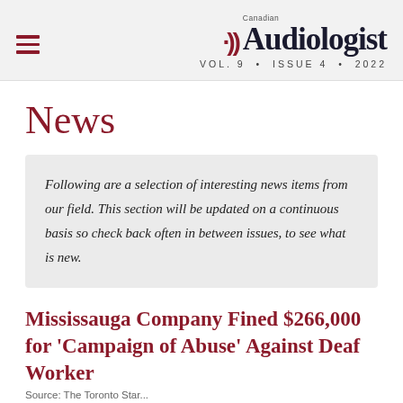Canadian Audiologist VOL. 9 · ISSUE 4 · 2022
News
Following are a selection of interesting news items from our field. This section will be updated on a continuous basis so check back often in between issues, to see what is new.
Mississauga Company Fined $266,000 for 'Campaign of Abuse' Against Deaf Worker
Source: The Toronto Star...